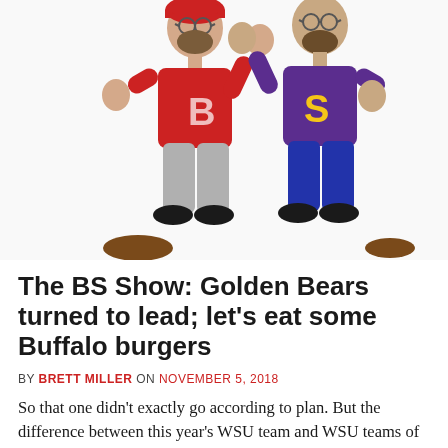[Figure (illustration): Hand-drawn illustration of two cartoon mascot figures giving a high five. Left figure wears a red jersey with letter B and a red cap with glasses, grey pants and black shoes. Right figure wears a purple jersey with a yellow letter S and blue pants with black shoes. A brown football shape is partially visible at the bottom.]
The BS Show: Golden Bears turned to lead; let's eat some Buffalo burgers
BY BRETT MILLER ON NOVEMBER 5, 2018
So that one didn't exactly go according to plan. But the difference between this year's WSU team and WSU teams of the past seems to be that when things don't go the way the Cougs want, it's not a guarantee to sink them. This team has resilience